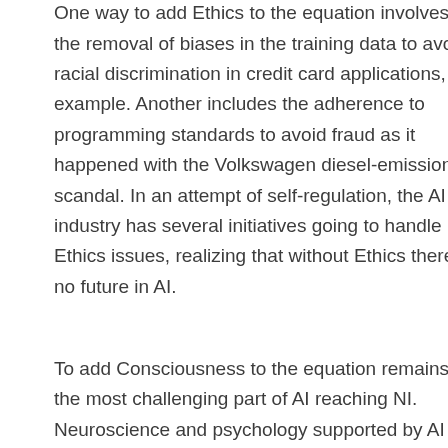One way to add Ethics to the equation involves the removal of biases in the training data to avoid racial discrimination in credit card applications, for example. Another includes the adherence to programming standards to avoid fraud as it happened with the Volkswagen diesel-emission scandal. In an attempt of self-regulation, the AI industry has several initiatives going to handle Ethics issues, realizing that without Ethics there is no future in AI.
To add Consciousness to the equation remains the most challenging part of AI reaching NI. Neuroscience and psychology supported by AI and IT, will hopefully overcome this century old philosophical debate answering the question how